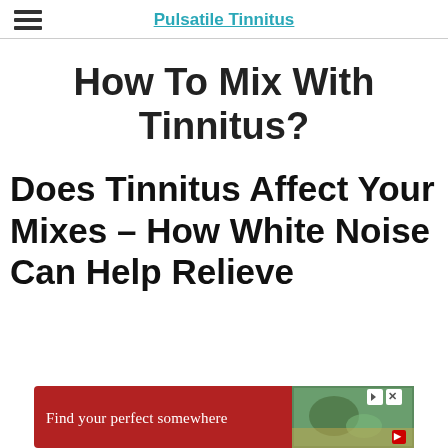Pulsatile Tinnitus
How To Mix With Tinnitus?
Does Tinnitus Affect Your Mixes – How White Noise Can Help Relieve
[Figure (other): Advertisement banner: red background with text 'Find your perfect somewhere' and a travel/nature image on the right, with playback and close controls.]